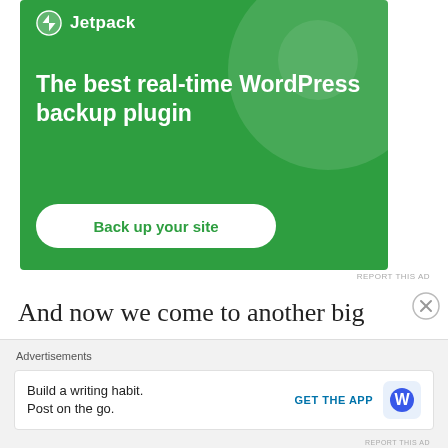[Figure (screenshot): Jetpack plugin advertisement banner with green background. Shows Jetpack logo at top, headline 'The best real-time WordPress backup plugin', and a white rounded 'Back up your site' button.]
REPORT THIS AD
And now we come to another big problem. Number five: screening. Apparently, once a person is signed up, they are considered
[Figure (screenshot): Bottom advertisement bar with label 'Advertisements'. Shows 'Build a writing habit. Post on the go.' text with 'GET THE APP' link and WordPress logo icon.]
REPORT THIS AD